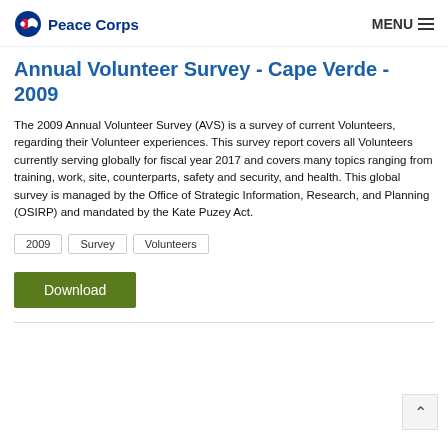Peace Corps  MENU
Annual Volunteer Survey - Cape Verde - 2009
The 2009 Annual Volunteer Survey (AVS) is a survey of current Volunteers, regarding their Volunteer experiences. This survey report covers all Volunteers currently serving globally for fiscal year 2017 and covers many topics ranging from training, work, site, counterparts, safety and security, and health. This global survey is managed by the Office of Strategic Information, Research, and Planning (OSIRP) and mandated by the Kate Puzey Act.
2009
Survey
Volunteers
Download